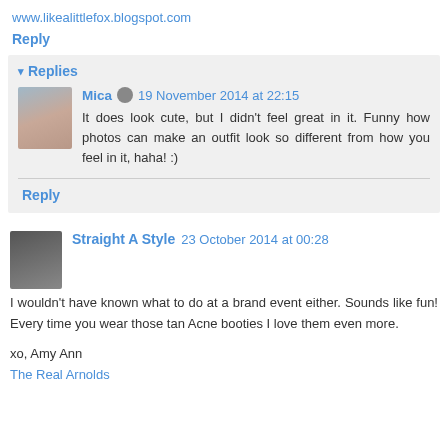www.likealittlefox.blogspot.com
Reply
▾ Replies
Mica  19 November 2014 at 22:15
It does look cute, but I didn't feel great in it. Funny how photos can make an outfit look so different from how you feel in it, haha! :)
Reply
Straight A Style  23 October 2014 at 00:28
I wouldn't have known what to do at a brand event either. Sounds like fun! Every time you wear those tan Acne booties I love them even more.

xo, Amy Ann
The Real Arnolds